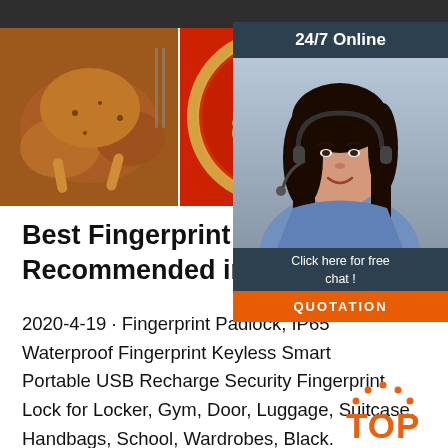[Figure (photo): Top dark navigation bar]
[Figure (photo): Three food photos side by side: roasted chicken on left, pizza in center, baked dishes on right]
[Figure (photo): 24/7 Online customer service widget with woman wearing headset, Click here for free chat text, and QUOTATION orange button]
Best Fingerprint Padlock Recommended in 2020 Reviews
2020-4-19 · Fingerprint Padlock, IP65 Waterproof Fingerprint Keyless Smart Portable USB Recharge Security Fingerprint Lock for Locker, Gym, Door, Luggage, Suitcase, Handbags, School, Wardrobes, Black. TOWODE. Built-in LED light indicator for easy programming and operation. Portable and
[Figure (logo): TOP logo in orange with dotted arc above letters]